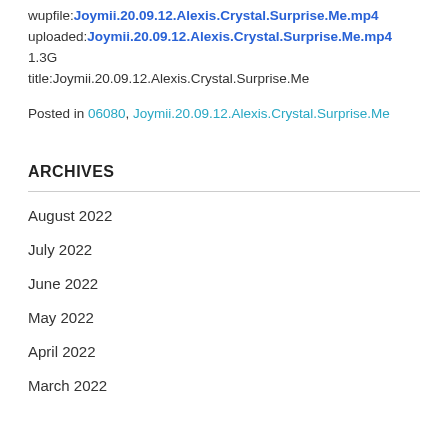wupfile:Joymii.20.09.12.Alexis.Crystal.Surprise.Me.mp4
uploaded:Joymii.20.09.12.Alexis.Crystal.Surprise.Me.mp4
1.3G
title:Joymii.20.09.12.Alexis.Crystal.Surprise.Me
Posted in 06080, Joymii.20.09.12.Alexis.Crystal.Surprise.Me
ARCHIVES
August 2022
July 2022
June 2022
May 2022
April 2022
March 2022